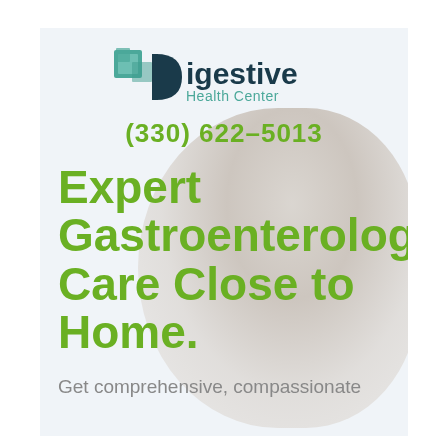[Figure (logo): Digestive Health Center logo with a square teal/green icon and text 'Digestive Health Center']
(330) 622-5013
Expert Gastroenterology Care Close to Home.
Get comprehensive, compassionate care at Digestive Health Center. Call to